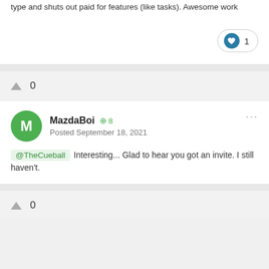type and shuts out paid for features (like tasks). Awesome work
1
0
MazdaBoi +8
Posted September 18, 2021
@TheCueball Interesting... Glad to hear you got an invite. I still haven't.
0